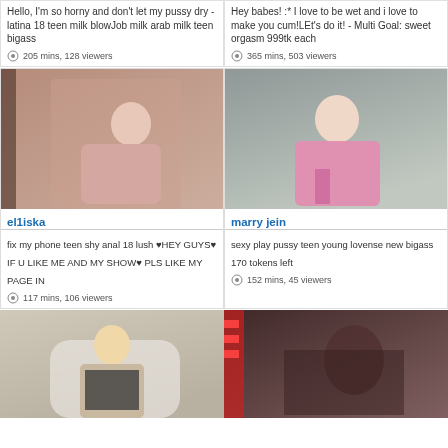Hello, I'm so horny and don't let my pussy dry - latina 18 teen milk blowJob milk arab milk teen bigass
205 mins, 128 viewers
Hey babes! :* I love to be wet and i love to make you cum!LEt's do it! - Multi Goal: sweet orgasm 999tk each
365 mins, 503 viewers
[Figure (photo): Webcam stream thumbnail of el1iska]
[Figure (photo): Webcam stream thumbnail of marry jein]
el1iska
fix my phone teen shy anal 18 lush ♥HEY GUYS♥ IF U LIKE ME AND MY SHOW♥ PLS LIKE MY PAGE IN
117 mins, 106 viewers
marry jein
sexy play pussy teen young lovense new bigass 170 tokens left
152 mins, 45 viewers
[Figure (photo): Webcam stream thumbnail, blonde woman in chair]
[Figure (photo): Webcam stream thumbnail, dark scene]